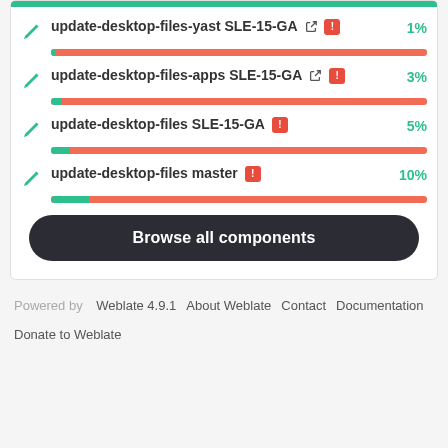[Figure (screenshot): List of update-desktop-files components with progress bars showing translation percentages: update-desktop-files-yast SLE-15-GA 1%, update-desktop-files-apps SLE-15-GA 3%, update-desktop-files SLE-15-GA 5%, update-desktop-files master 10%]
update-desktop-files-yast SLE-15-GA 1%
update-desktop-files-apps SLE-15-GA 3%
update-desktop-files SLE-15-GA 5%
update-desktop-files master 10%
Browse all components
Powered by Weblate 4.9.1   About Weblate   Contact   Documentation   Donate to Weblate